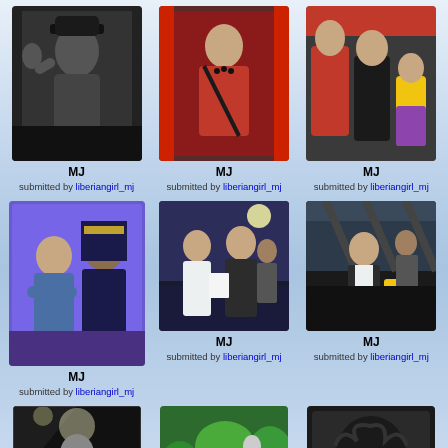[Figure (photo): Black and white photo of Michael Jackson in hat]
MJ
submitted by liberiangirl_mj
[Figure (photo): Photo of Michael Jackson in red shirt with bag strap]
MJ
submitted by liberiangirl_mj
[Figure (photo): Group photo with person in red outfit]
MJ
submitted by liberiangirl_mj
[Figure (photo): Blue toned photo of Michael Jackson with two figures]
MJ
submitted by liberiangirl_mj
[Figure (photo): Night outdoor photo of Michael Jackson in white outfit]
MJ
submitted by liberiangirl_mj
[Figure (photo): Indoor dark photo of Michael Jackson]
MJ
submitted by liberiangirl_mj
[Figure (photo): Black and white concert photo of Michael Jackson singing]
MJ
submitted by liberiangirl_mj
[Figure (photo): Outdoor garden photo of Michael Jackson]
MJ
submitted by liberiangirl_mj
[Figure (photo): Portrait of Michael Jackson wearing sunglasses]
MJ
submitted by liberiangirl_mj